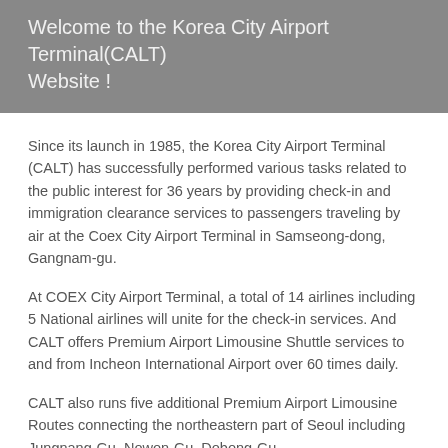Welcome to the Korea City Airport Terminal(CALT) Website !
Since its launch in 1985, the Korea City Airport Terminal (CALT) has successfully performed various tasks related to the public interest for 36 years by providing check-in and immigration clearance services to passengers traveling by air at the Coex City Airport Terminal in Samseong-dong, Gangnam-gu.
At COEX City Airport Terminal, a total of 14 airlines including 5 National airlines will unite for the check-in services. And CALT offers Premium Airport Limousine Shuttle services to and from Incheon International Airport over 60 times daily.
CALT also runs five additional Premium Airport Limousine Routes connecting the northeastern part of Seoul including Jungnang-Gu, Nowon-Gu, Dobong-Gu,